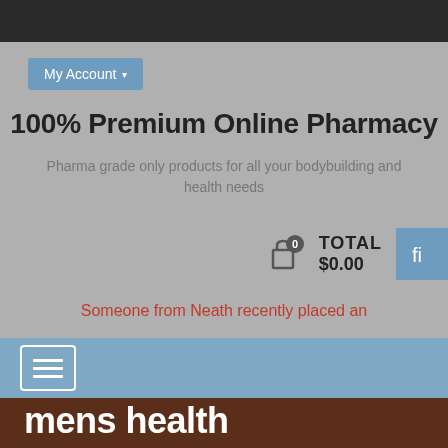[Figure (screenshot): Dark top navigation bar of a website]
My Account ▾
100% Premium Online Pharmacy
Pharma grade only products for all your bodybuilding and health needs
TOTAL $0.00
Someone from Neath recently placed an
[Figure (other): Hamburger menu button on blue navigation bar]
mens health